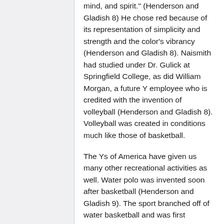mind, and spirit." (Henderson and Gladish 8) He chose red because of its representation of simplicity and strength and the color's vibrancy (Henderson and Gladish 8). Naismith had studied under Dr. Gulick at Springfield College, as did William Morgan, a future Y employee who is credited with the invention of volleyball (Henderson and Gladish 8). Volleyball was created in conditions much like those of basketball.
The Ys of America have given us many other recreational activities as well. Water polo was invented soon after basketball (Henderson and Gladish 9). The sport branched off of water basketball and was first recognized in 1891 (Henderson and Gladish 9). The first official swim lessons were given by George Corsan at the Detroit YMCA in